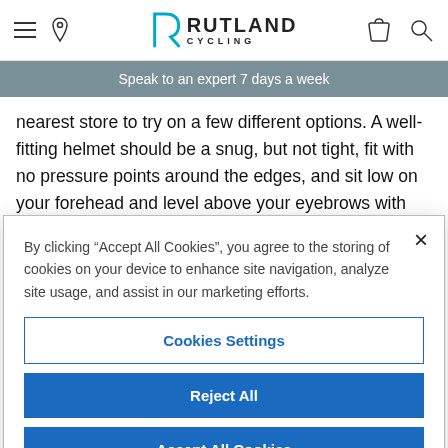Rutland Cycling
Speak to an expert 7 days a week
nearest store to try on a few different options. A well-fitting helmet should be a snug, but not tight, fit with no pressure points around the edges, and sit low on your forehead and level above your eyebrows with the retention system snug to the back of your head.
By clicking “Accept All Cookies”, you agree to the storing of cookies on your device to enhance site navigation, analyze site usage, and assist in our marketing efforts.
Cookies Settings
Reject All
Accept All Cookies